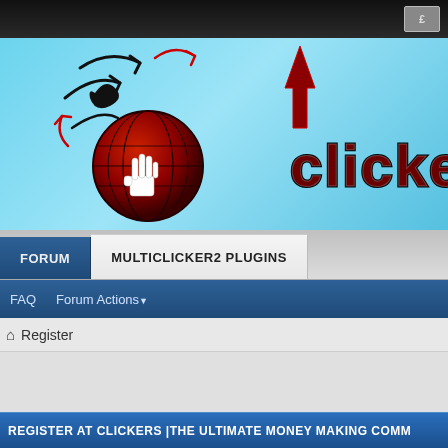[Figure (screenshot): Dark top browser bar with small icon on right]
[Figure (logo): Clickers forum logo on light blue background with globe icon, hand cursor, floral arrows, and red/black stylized text reading 'clicker']
FORUM   MULTICLICKER2 PLUGINS
FAQ   Forum Actions
🏠 Register
REGISTRATION
REGISTER AT CLICKERS |THE ULTIMATE MONEY MAKING COMM...